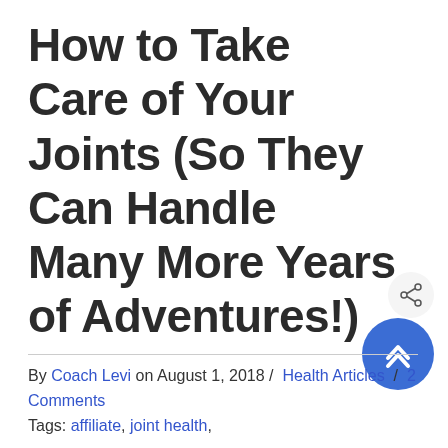How to Take Care of Your Joints (So They Can Handle Many More Years of Adventures!)
By Coach Levi on August 1, 2018 / Health Articles / 2 Comments
Tags: affiliate, joint health,